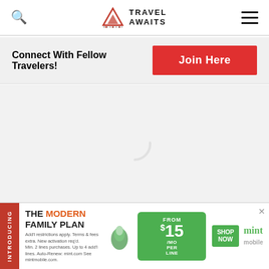Travel Awaits
Connect With Fellow Travelers!
Join Here
[Figure (other): Empty grey content area with faint loading spinner]
[Figure (infographic): Mint Mobile advertisement banner: INTRODUCING THE MODERN FAMILY PLAN from $15/mo per line SHOP NOW mint mobile]